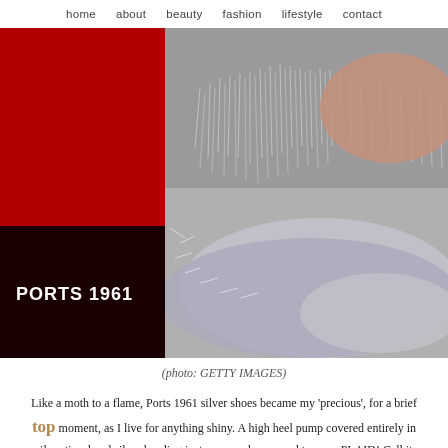home   about   beauty fashion lifestyle contact
[Figure (photo): Close-up photo of silver tinsel high heel shoes from Ports 1961, resting on a grey floor. The left portion shows a red block and a dark maroon block with the brand name 'PORTS 1961' in white text.]
(photo: GETTY IMAGES)
Like a moth to a flame, Ports 1961 silver shoes became my ‘precious’, for a brief moment, as I live for anything shiny. A high heel pump covered entirely in silver tinsel and silver beading just screamed one word to me – PLAID! Call it intuition, call it